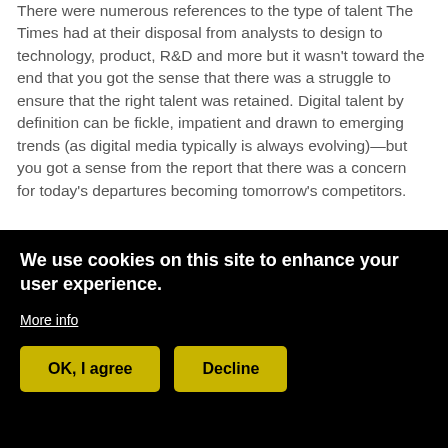There were numerous references to the type of talent The Times had at their disposal from analysts to design to technology, product, R&D and more but it wasn't toward the end that you got the sense that there was a struggle to ensure that the right talent was retained. Digital talent by definition can be fickle, impatient and drawn to emerging trends (as digital media typically is always evolving)—but you got a sense from the report that there was a concern for today's departures becoming tomorrow's competitors.
Summary: Disruption Happens
The NYT Innovation Report provides
We use cookies on this site to enhance your user experience.
More info
OK, I agree
Decline